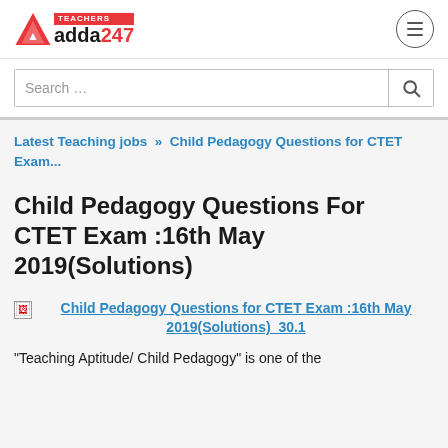Teachers adda247
Search …
Latest Teaching jobs » Child Pedagogy Questions for CTET Exam...
Child Pedagogy Questions For CTET Exam :16th May 2019(Solutions)
[Figure (photo): Broken image placeholder with link: Child Pedagogy Questions for CTET Exam :16th May 2019(Solutions)_30.1]
"Teaching Aptitude/ Child Pedagogy" is one of the